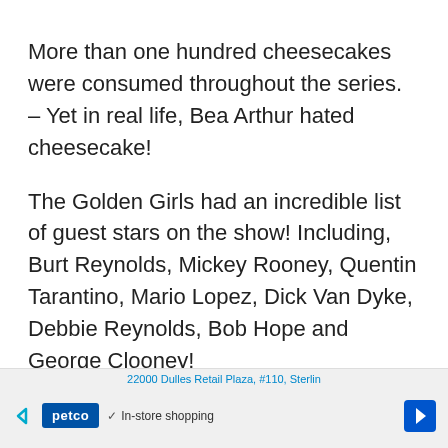More than one hundred cheesecakes were consumed throughout the series. – Yet in real life, Bea Arthur hated cheesecake!
The Golden Girls had an incredible list of guest stars on the show! Including, Burt Reynolds, Mickey Rooney, Quentin Tarantino, Mario Lopez, Dick Van Dyke, Debbie Reynolds, Bob Hope and George Clooney!
[Figure (screenshot): Advertisement bar for Petco showing address '22000 Dulles Retail Plaza, #110, Sterlin', Petco logo, navigation arrows, and 'In-store shopping' label with checkmark]